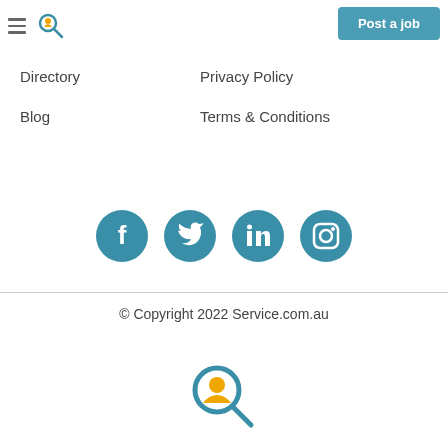Post a job
Directory
Privacy Policy
Blog
Terms & Conditions
[Figure (infographic): Four teal circular social media icons: Facebook, Twitter, LinkedIn, Instagram]
© Copyright 2022 Service.com.au
[Figure (logo): Service.com.au logo: magnifying glass with person icon in teal and yellow]